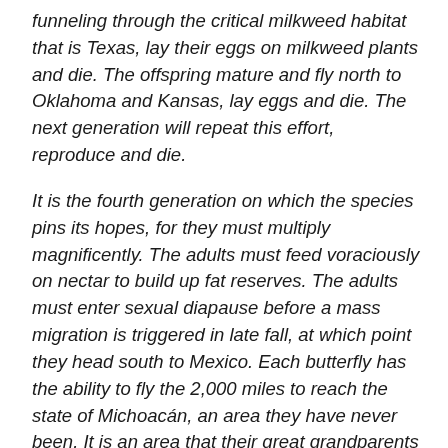funneling through the critical milkweed habitat that is Texas, lay their eggs on milkweed plants and die. The offspring mature and fly north to Oklahoma and Kansas, lay eggs and die. The next generation will repeat this effort, reproduce and die.
It is the fourth generation on which the species pins its hopes, for they must multiply magnificently. The adults must feed voraciously on nectar to build up fat reserves. The adults must enter sexual diapause before a mass migration is triggered in late fall, at which point they head south to Mexico. Each butterfly has the ability to fly the 2,000 miles to reach the state of Michoacán, an area they have never been. It is an area that their great grandparents left in the spring as part of the largest insect migration in the world — a migration that is under threat. It is a miracle of navigation...